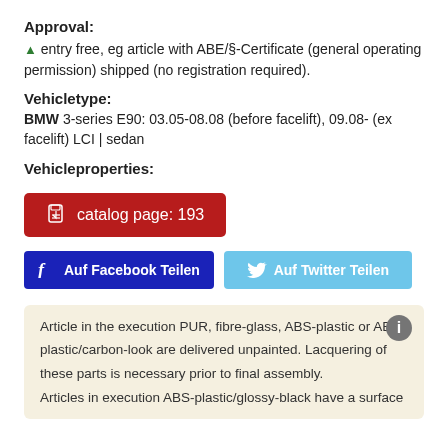Approval:
▲ entry free, eg article with ABE/§-Certificate (general operating permission) shipped (no registration required).
Vehicletype:
BMW 3-series E90: 03.05-08.08 (before facelift), 09.08- (ex facelift) LCI | sedan
Vehicleproperties:
[Figure (other): Red button labeled 'catalog page: 193' with PDF icon]
[Figure (other): Two social sharing buttons: 'Auf Facebook Teilen' (blue) and 'Auf Twitter Teilen' (light blue)]
Article in the execution PUR, fibre-glass, ABS-plastic or ABS-plastic/carbon-look are delivered unpainted. Lacquering of these parts is necessary prior to final assembly. Articles in execution ABS-plastic/glossy-black have a surface